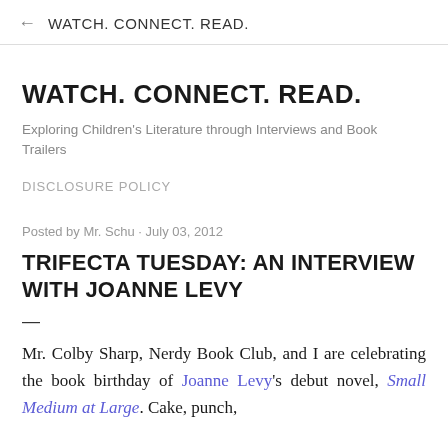← WATCH. CONNECT. READ.
WATCH. CONNECT. READ.
Exploring Children's Literature through Interviews and Book Trailers
DISCLOSURE POLICY
Posted by Mr. Schu · July 03, 2012
TRIFECTA TUESDAY: AN INTERVIEW WITH JOANNE LEVY
—
Mr. Colby Sharp, Nerdy Book Club, and I are celebrating the book birthday of Joanne Levy's debut novel, Small Medium at Large. Cake, punch,